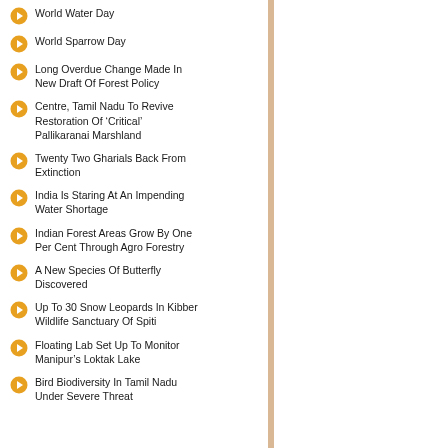World Water Day
World Sparrow Day
Long Overdue Change Made In New Draft Of Forest Policy
Centre, Tamil Nadu To Revive Restoration Of ‘Critical’ Pallikaranai Marshland
Twenty Two Gharials Back From Extinction
India Is Staring At An Impending Water Shortage
Indian Forest Areas Grow By One Per Cent Through Agro Forestry
A New Species Of Butterfly Discovered
Up To 30 Snow Leopards In Kibber Wildlife Sanctuary Of Spiti
Floating Lab Set Up To Monitor Manipur’s Loktak Lake
Bird Biodiversity In Tamil Nadu Under Severe Threat